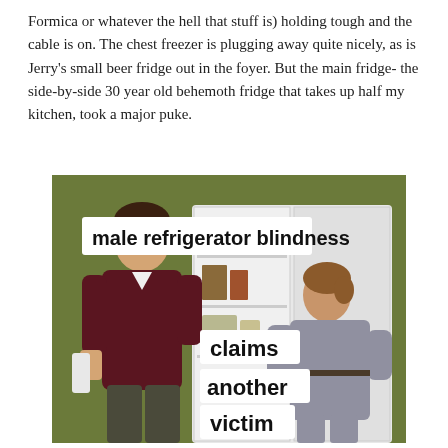Formica or whatever the hell that stuff is) holding tough and the cable is on. The chest freezer is plugging away quite nicely, as is Jerry's small beer fridge out in the foyer. But the main fridge- the side-by-side 30 year old behemoth fridge that takes up half my kitchen, took a major puke.
[Figure (illustration): Vintage 1950s-style humorous illustration showing a man and woman at an open refrigerator. Text overlays read 'male refrigerator blindness claims another victim'.]